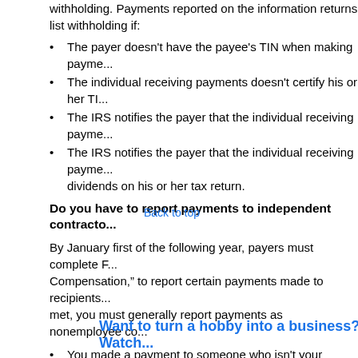withholding. Payments reported on the information returns list withholding if:
The payer doesn't have the payee's TIN when making payme...
The individual receiving payments doesn't certify his or her TI...
The IRS notifies the payer that the individual receiving payme...
The IRS notifies the payer that the individual receiving payme... dividends on his or her tax return.
Do you have to report payments to independent contracto...
By January first of the following year, payers must complete F... Compensation,” to report certain payments made to recipients... met, you must generally report payments as nonemployee co...
You made a payment to someone who isn't your employee,
You made a payment for services in the course of your trade o...
You made a payment to an individual, p... ate, or,
You made payments to a recipient of at... ing the... Contact us if you receive a CP2100 or CP2100A notice from t... filing Form 1099-NEC. We can help you stay in compliance wi...
© 2022
Want to turn a hobby into a business? Watch...